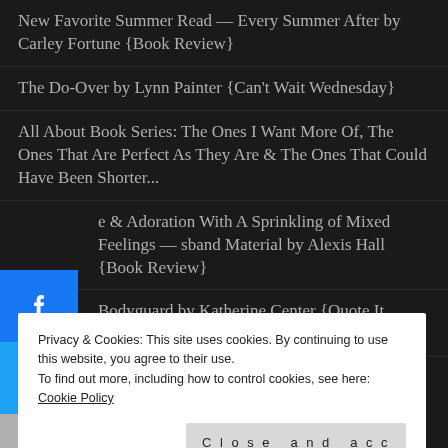New Favorite Summer Read — Every Summer After by Carley Fortune {Book Review}
The Do-Over by Lynn Painter {Can't Wait Wednesday}
All About Book Series: The Ones I Want More Of, The Ones That Are Perfect As They Are & The Ones That Could Have Been Shorter...
e & Adoration With A Sprinkling of Mixed Feelings — sband Material by Alexis Hall {Book Review}
Bodyguard by Katherine Center {Quote It Wednesday}
SUBSCRIBE TO BLOG
Privacy & Cookies: This site uses cookies. By continuing to use this website, you agree to their use.
To find out more, including how to control cookies, see here: Cookie Policy
Close and accept
Email Address